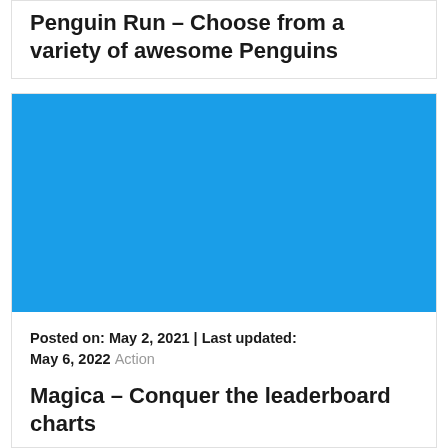Penguin Run – Choose from a variety of awesome Penguins
[Figure (illustration): Solid blue rectangle placeholder image for a blog post]
Posted on: May 2, 2021 | Last updated: May 6, 2022  Action
Magica – Conquer the leaderboard charts